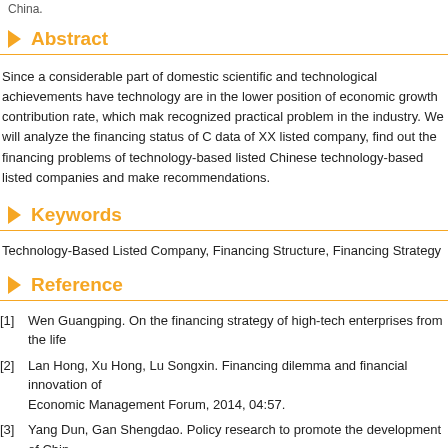China.
Abstract
Since a considerable part of domestic scientific and technological achievements have technology are in the lower position of economic growth contribution rate, which mak recognized practical problem in the industry. We will analyze the financing status of C data of XX listed company, find out the financing problems of technology-based listed Chinese technology-based listed companies and make recommendations.
Keywords
Technology-Based Listed Company, Financing Structure, Financing Strategy
Reference
[1]   Wen Guangping. On the financing strategy of high-tech enterprises from the life
[2]   Lan Hong, Xu Hong, Lu Songxin. Financing dilemma and financial innovation of Economic Management Forum, 2014, 04:57.
[3]   Yang Dun, Gan Shengdao. Policy research to promote the development of Chin Science, Ministry of Finance, 2011.
[4]   Wang Yuegang. On the Construction of Investment and Financing System for Hi 11:02.